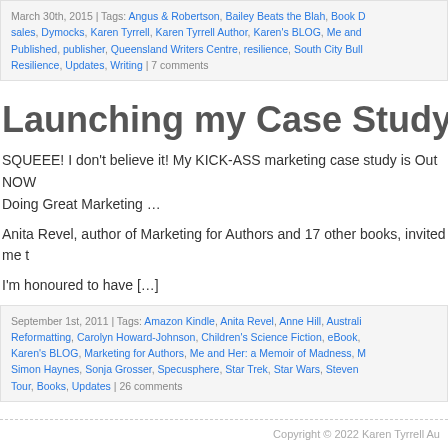March 30th, 2015 | Tags: Angus & Robertson, Bailey Beats the Blah, Book D sales, Dymocks, Karen Tyrrell, Karen Tyrrell Author, Karen's BLOG, Me and Published, publisher, Queensland Writers Centre, resilience, South City Bull Resilience, Updates, Writing | 7 comments
Launching my Case Study in Mar
SQUEEE! I don't believe it! My KICK-ASS marketing case study is Out NOW Doing Great Marketing …
Anita Revel, author of Marketing for Authors and 17 other books, invited me t
I'm honoured to have […]
September 1st, 2011 | Tags: Amazon Kindle, Anita Revel, Anne Hill, Australi Reformatting, Carolyn Howard-Johnson, Children's Science Fiction, eBook, Karen's BLOG, Marketing for Authors, Me and Her: a Memoir of Madness, M Simon Haynes, Sonja Grosser, Specusphere, Star Trek, Star Wars, Steven Tour, Books, Updates | 26 comments
Copyright © 2022 Karen Tyrrell Au